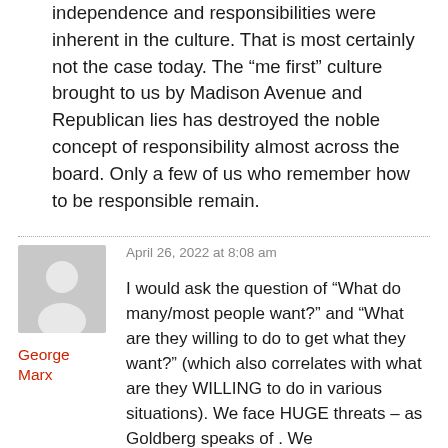independence and responsibilities were inherent in the culture. That is most certainly not the case today. The “me first” culture brought to us by Madison Avenue and Republican lies has destroyed the noble concept of responsibility almost across the board. Only a few of us who remember how to be responsible remain.
April 26, 2022 at 8:08 am
George Marx
I would ask the question of “What do many/most people want?” and “What are they willing to do to get what they want?” (which also correlates with what are they WILLING to do in various situations). We face HUGE threats – as Goldberg speaks of . We